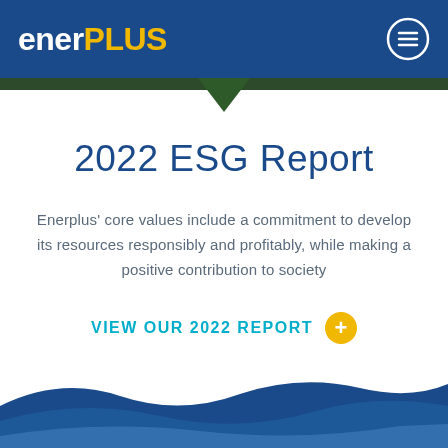enerPLUS
2022 ESG Report
Enerplus' core values include a commitment to develop its resources responsibly and profitably, while making a positive contribution to society
VIEW OUR 2022 REPORT